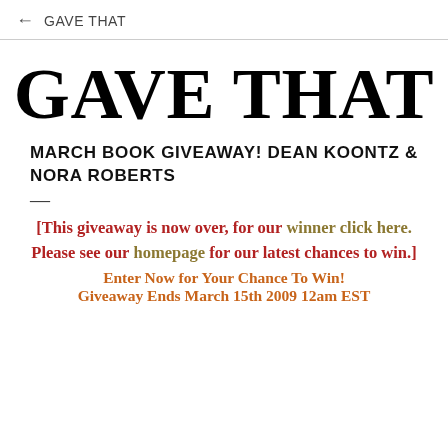← GAVE THAT
GAVE THAT
MARCH BOOK GIVEAWAY! DEAN KOONTZ & NORA ROBERTS
[This giveaway is now over, for our winner click here. Please see our homepage for our latest chances to win.] Enter Now for Your Chance To Win! Giveaway Ends March 15th 2009 12am EST